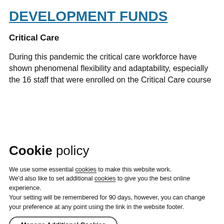DEVELOPMENT FUNDS
Critical Care
During this pandemic the critical care workforce have shown phenomenal flexibility and adaptability, especially the 16 staff that were enrolled on the Critical Care course
Cookie policy
We use some essential cookies to make this website work. We'd also like to set additional cookies to give you the best online experience.
Your setting will be remembered for 90 days, however, you can change your preference at any point using the link in the website footer.
Manage Additional Cookies
Accept All Cookies